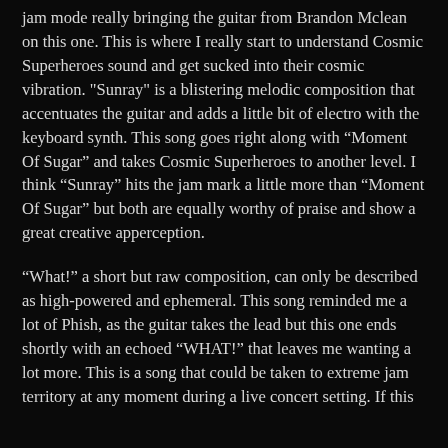jam mode really bringing the guitar from Brandon Mclean on this one. This is where I really start to understand Cosmic Superheroes sound and get sucked into their cosmic vibration. "Sunray" is a blistering melodic composition that accentuates the guitar and adds a little bit of electro with the keyboard synth. This song goes right along with “Moment Of Sugar” and takes Cosmic Superheroes to another level. I think “Sunray” hits the jam mark a little more than “Moment Of Sugar” but both are equally worthy of praise and show a great creative apperception.
“What!” a short but raw composition, can only be described as high-powered and ephemeral. This song reminded me a lot of Phish, as the guitar takes the lead but this one ends shortly with an echoed “WHAT!” that leaves me wanting a lot more. This is a song that could be taken to extreme jam territory at any moment during a live concert setting. If this